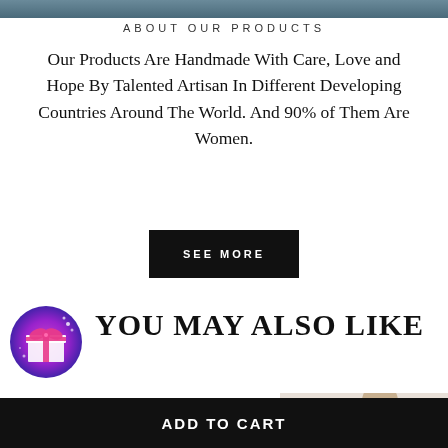[Figure (photo): Top banner image - partial photo of artisan or product]
ABOUT OUR PRODUCTS
Our Products Are Handmade With Care, Love and Hope By Talented Artisan In Different Developing Countries Around The World. And 90% of Them Are Women.
SEE MORE
YOU MAY ALSO LIKE
[Figure (photo): Product image showing a person in dark clothing]
ADD TO CART